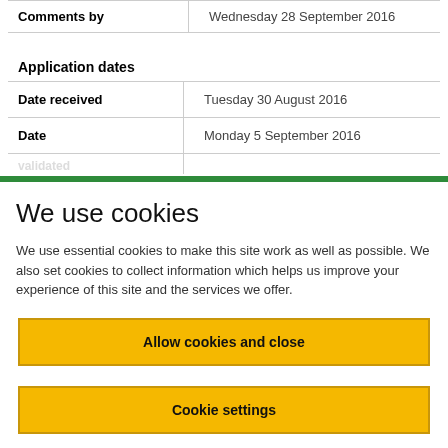| Comments by | Wednesday 28 September 2016 |
| --- | --- |
| Application dates |  |
| --- | --- |
| Date received | Tuesday 30 August 2016 |
| Date [published] | Monday 5 September 2016 |
We use cookies
We use essential cookies to make this site work as well as possible. We also set cookies to collect information which helps us improve your experience of this site and the services we offer.
Allow cookies and close
Cookie settings